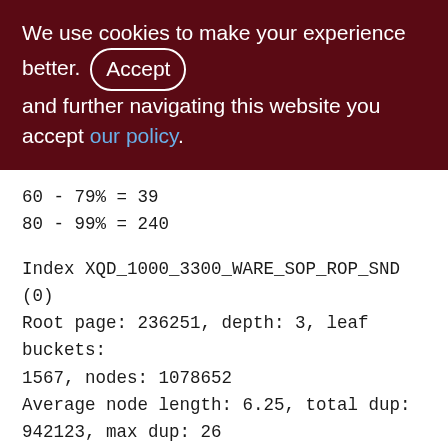We use cookies to make your experience better. By accepting and further navigating this website you accept our policy.
60 - 79% = 39
80 - 99% = 240
Index XQD_1000_3300_WARE_SOP_ROP_SND (0)
Root page: 236251, depth: 3, leaf buckets: 1567, nodes: 1078652
Average node length: 6.25, total dup: 942123, max dup: 26
Average key length: 3.32, compression ratio: 11.15
Average prefix length: 35.81, average data length: 1.19